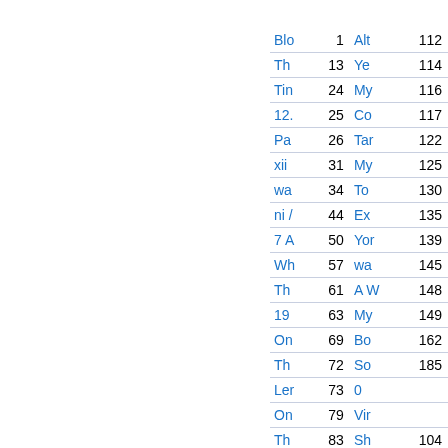| Blo | 1 | Alt | 112 |
| Th | 13 | Ye | 114 |
| Tin | 24 | My | 116 |
| 12. | 25 | Co | 117 |
| Pa | 26 | Tar | 122 |
| xii | 31 | My | 125 |
| wa | 34 | To | 130 |
| ni / | 44 | Ex | 135 |
| 7 A | 50 | Yor | 139 |
| Wh | 57 | wa | 145 |
| Th | 61 | A W | 148 |
| 19 | 63 | My | 149 |
| On | 69 | Bo | 162 |
| Th | 72 | So | 185 |
| Ler | 73 | 0 |  |
| On | 79 | Vir |  |
| Th | 83 | Sh | 104 |